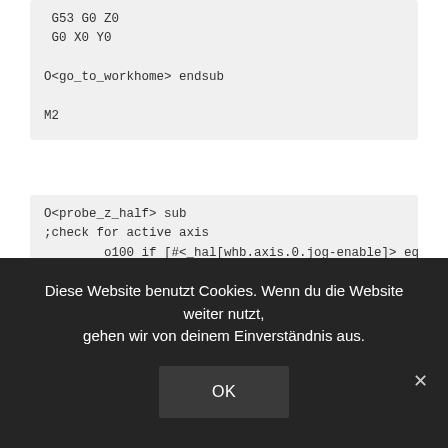G53 G0 Z0
G0 X0 Y0

O<go_to_workhome> endsub

M2
O<probe_z_half> sub
;check for active axis
        o100 if [#<_hal[whb.axis.0.jog-enable]> eq
1] ;If x-axis active
                G10 L20 P0 X[#<_x>/2]
;zero X
        o100 endif
Diese Website benutzt Cookies. Wenn du die Website weiter nutzt, gehen wir von deinem Einverständnis aus.